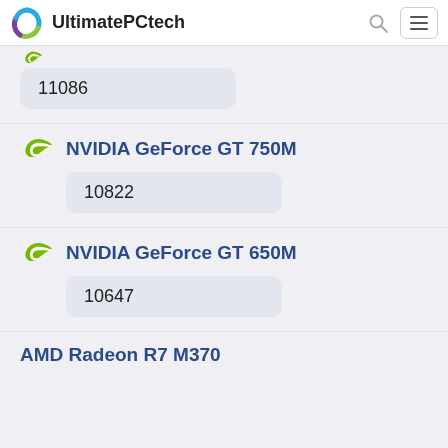UltimatePCtech
11086
NVIDIA GeForce GT 750M
10822
NVIDIA GeForce GT 650M
10647
AMD Radeon R7 M370